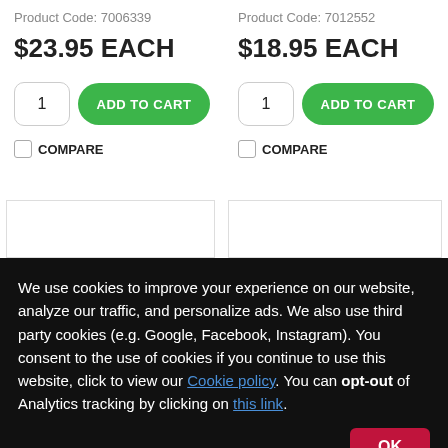Product Code: 7006339
$23.95 EACH
Product Code: 7012552
$18.95 EACH
COMPARE
COMPARE
We use cookies to improve your experience on our website, analyze our traffic, and personalize ads. We also use third party cookies (e.g. Google, Facebook, Instagram). You consent to the use of cookies if you continue to use this website, click to view our Cookie policy. You can opt-out of Analytics tracking by clicking on this link.